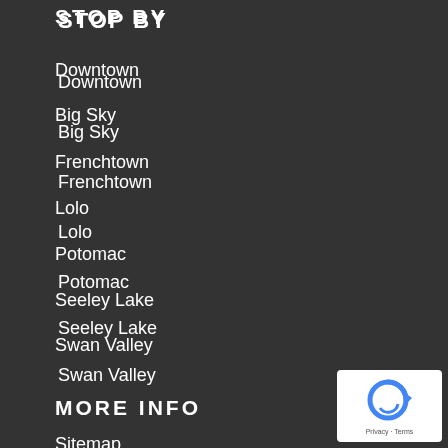STOP BY
Downtown
Big Sky
Frenchtown
Lolo
Potomac
Seeley Lake
Swan Valley
MORE INFO
Sitemap
Board of Trustees
[Figure (other): reCAPTCHA badge with 'Privacy - Terms' text]